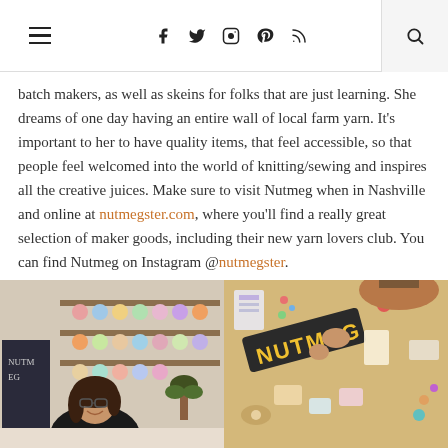Navigation header with hamburger menu, social icons (Facebook, Twitter, Instagram, Pinterest, RSS), and search button
batch makers, as well as skeins for folks that are just learning. She dreams of one day having an entire wall of local farm yarn. It's important to her to have quality items, that feel accessible, so that people feel welcomed into the world of knitting/sewing and inspires all the creative juices. Make sure to visit Nutmeg when in Nashville and online at nutmegster.com, where you'll find a really great selection of maker goods, including their new yarn lovers club. You can find Nutmeg on Instagram @nutmegster.
[Figure (photo): Two side-by-side photos: left shows a smiling woman with glasses seated in a yarn shop with colorful shelves behind her; right shows a bird's-eye view of hands arranging craft supplies on a table with a 'NUTMEG' sign.]